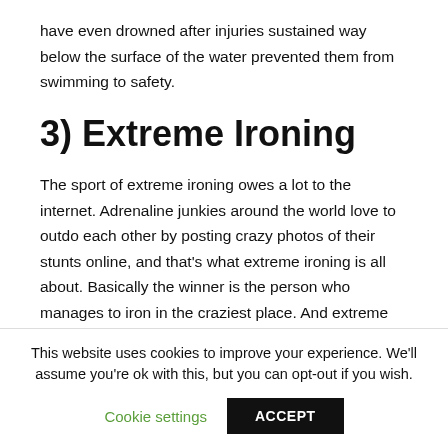have even drowned after injuries sustained way below the surface of the water prevented them from swimming to safety.
3) Extreme Ironing
The sport of extreme ironing owes a lot to the internet. Adrenaline junkies around the world love to outdo each other by posting crazy photos of their stunts online, and that's what extreme ironing is all about. Basically the winner is the person who manages to iron in the craziest place. And extreme ironers certainly go to some crazy places, including mountains. cliff faces and the bottom of the ocean. The
This website uses cookies to improve your experience. We'll assume you're ok with this, but you can opt-out if you wish.
Cookie settings   ACCEPT